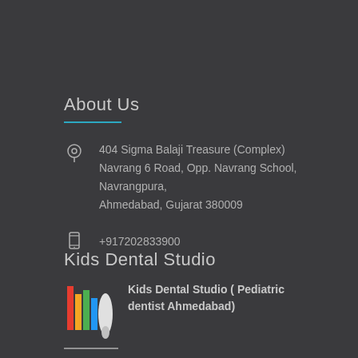About Us
404 Sigma Balaji Treasure (Complex)
Navrang 6 Road, Opp. Navrang School,
Navrangpura,
Ahmedabad, Gujarat 380009
+917202833900
info@kidsdentalstudio.org
Kids Dental Studio
[Figure (logo): Kids Dental Studio logo with colorful illustration]
Kids Dental Studio ( Pediatric dentist Ahmedabad)